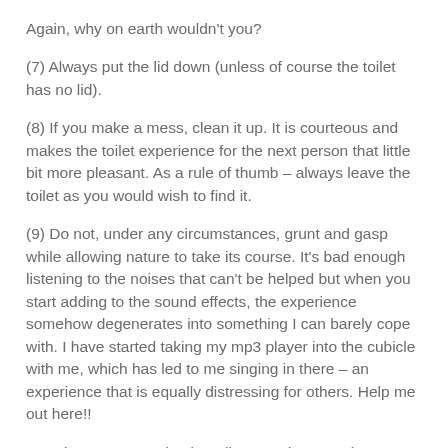Again, why on earth wouldn't you?
(7) Always put the lid down (unless of course the toilet has no lid).
(8) If you make a mess, clean it up. It is courteous and makes the toilet experience for the next person that little bit more pleasant. As a rule of thumb – always leave the toilet as you would wish to find it.
(9) Do not, under any circumstances, grunt and gasp while allowing nature to take its course. It's bad enough listening to the noises that can't be helped but when you start adding to the sound effects, the experience somehow degenerates into something I can barely cope with. I have started taking my mp3 player into the cubicle with me, which has led to me singing in there – an experience that is equally distressing for others. Help me out here!!
Together we can make the toilet experience a pleasant one. I know that there is nothing like your own loo and sitting on your own personal toilet in the morning, reading the